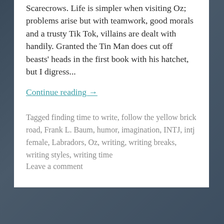Scarecrows. Life is simpler when visiting Oz; problems arise but with teamwork, good morals and a trusty Tik Tok, villains are dealt with handily. Granted the Tin Man does cut off beasts' heads in the first book with his hatchet, but I digress...
Continue reading →
Tagged finding time to write, follow the yellow brick road, Frank L. Baum, humor, imagination, INTJ, intj female, Labradors, Oz, writing, writing breaks, writing styles, writing time
Leave a comment